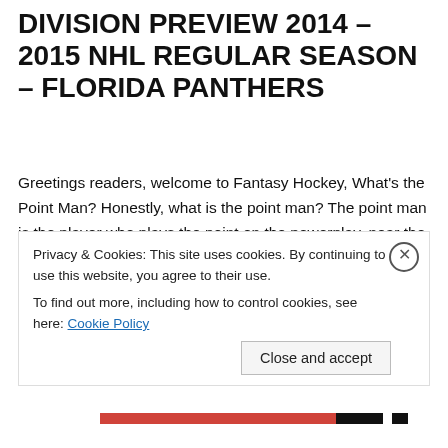DIVISION PREVIEW 2014 – 2015 NHL REGULAR SEASON – FLORIDA PANTHERS
Greetings readers, welcome to Fantasy Hockey, What's the Point Man? Honestly, what is the point man? The point man is the player who plays the point on the powerplay, near the blueline.  They in many ways run the power play by acting as an outlet for forwards on the half walls, by setting up for seeing eye shots, and by being the last line of defense should the penalty kill counter.  The point man
Privacy & Cookies: This site uses cookies. By continuing to use this website, you agree to their use.
To find out more, including how to control cookies, see here: Cookie Policy
Close and accept